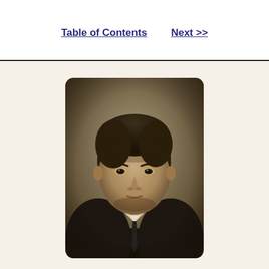Table of Contents   Next >>
[Figure (photo): Sepia-tone portrait photograph of a man in formal attire with dark jacket and tie, looking directly at the camera, rounded rectangle frame on cream background]